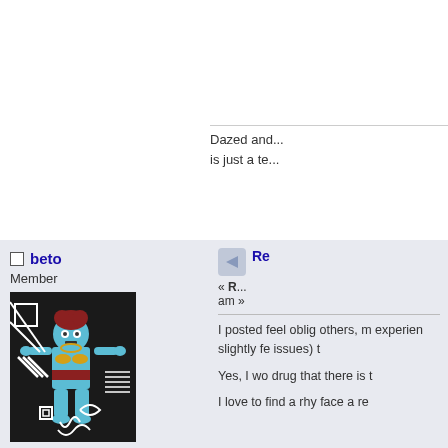Dazed and... is just a te...
beto
Member
[Figure (illustration): Colorful stylized tribal/folk art figure of a humanoid creature with blue limbs on a dark background with geometric patterns]
Posts: 548
"no risk it, no biscuit"
Re... « R... am »
I posted feel oblig others, m experien slightly fe issues) t
Yes, I wo drug that there is t
I love to find a rhy face a re